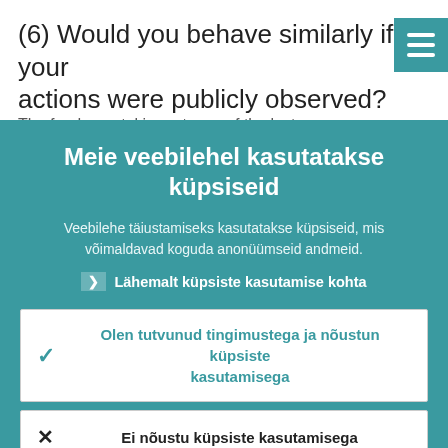(6) Would you behave similarly if your actions were publicly observed?
[Figure (screenshot): Cookie consent overlay dialog with teal/green background. Title: 'Meie veebilehel kasutatakse küpsiseid'. Body text about cookies. Link 'Lähemalt küpsiste kasutamise kohta'. Two buttons: accept (checked) and decline (X).]
Meie veebilehel kasutatakse küpsiseid
Veebilehe täiustamiseks kasutatakse küpsiseid, mis võimaldavad koguda anonüümseid andmeid.
Lähemalt küpsiste kasutamise kohta
Olen tutvunud tingimustega ja nõustun küpsiste kasutamisega
Ei nõustu küpsiste kasutamisega